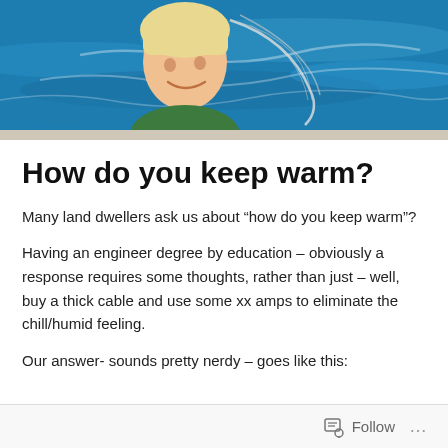[Figure (photo): A smiling person with short blonde hair near water, holding a fishing net, with blue water visible in the background.]
How do you keep warm?
Many land dwellers ask us about “how do you keep warm”?
Having an engineer degree by education – obviously a response requires some thoughts, rather than just – well, buy a thick cable and use some xx amps to eliminate the chill/humid feeling.
Our answer- sounds pretty nerdy – goes like this:
Follow …